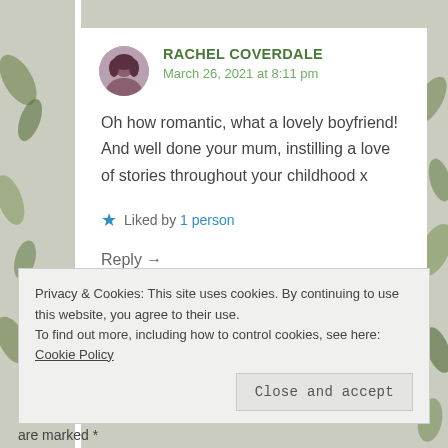RACHEL COVERDALE
March 26, 2021 at 8:11 pm
Oh how romantic, what a lovely boyfriend! And well done your mum, instilling a love of stories throughout your childhood x
★ Liked by 1 person
Reply →
Privacy & Cookies: This site uses cookies. By continuing to use this website, you agree to their use.
To find out more, including how to control cookies, see here: Cookie Policy
Close and accept
are marked *